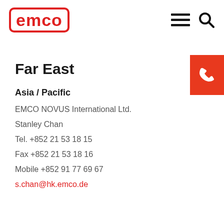[Figure (logo): EMCO logo — red rounded rectangle border with red bold text 'emco']
[Figure (other): Hamburger menu icon (three horizontal lines) and search (magnifying glass) icon in top right header]
Far East
Asia / Pacific
EMCO NOVUS International Ltd.
Stanley Chan
Tel. +852 21 53 18 15
Fax +852 21 53 18 16
Mobile +852 91 77 69 67
s.chan@hk.emco.de
[Figure (other): Red rectangle button with white phone/handset icon]